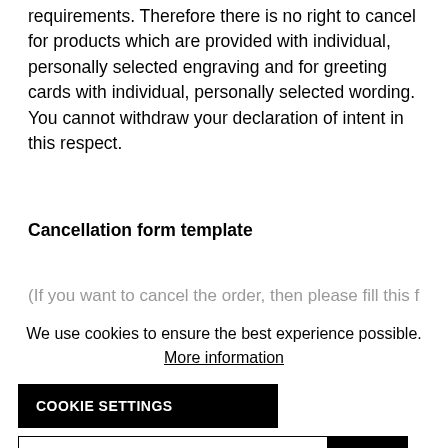requirements. Therefore there is no right to cancel for products which are provided with individual, personally selected engraving and for greeting cards with individual, personally selected wording. You cannot withdraw your declaration of intent in this respect.
Cancellation form template
(If you want to cancel the order, then please fill this form...
We use cookies to ensure the best experience possible. More information
COOKIE SETTINGS
ACCEPT ONLY FUNCTIONAL COOKIES
SAVE
ACCEPT ALL